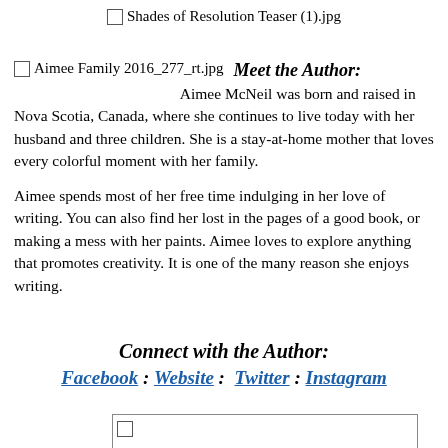[Figure (other): Checkbox with filename label: Shades of Resolution Teaser (1).jpg]
[Figure (other): Checkbox with filename label: Aimee Family 2016_277_rt.jpg]
Meet the Author:
Aimee McNeil was born and raised in Nova Scotia, Canada, where she continues to live today with her husband and three children. She is a stay-at-home mother that loves every colorful moment with her family.
Aimee spends most of her free time indulging in her love of writing. You can also find her lost in the pages of a good book, or making a mess with her paints. Aimee loves to explore anything that promotes creativity. It is one of the many reason she enjoys writing.
Connect with the Author:
Facebook : Website :  Twitter : Instagram
[Figure (other): Empty checkbox at bottom of page]